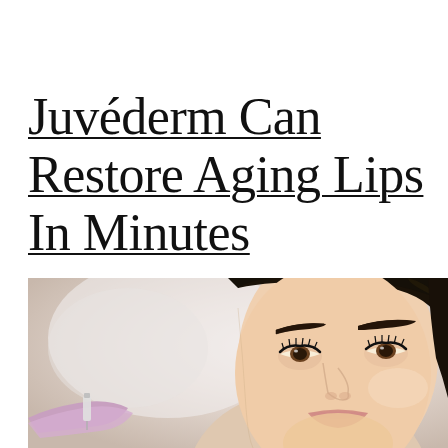Juvéderm Can Restore Aging Lips In Minutes
[Figure (photo): Close-up photo of a young woman with dark hair and bold eyebrows receiving a cosmetic injection near her lips. A gloved hand holding a syringe is visible in the lower left corner.]